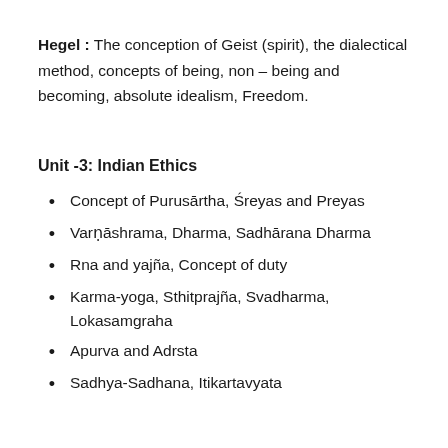Hegel : The conception of Geist (spirit), the dialectical method, concepts of being, non – being and becoming, absolute idealism, Freedom.
Unit -3: Indian Ethics
Concept of Purusārtha, Śreyas and Preyas
Varṇāshrama, Dharma, Sadhārana Dharma
Rna and yajña, Concept of duty
Karma-yoga, Sthitprajña, Svadharma, Lokasamgraha
Apurva and Adrsta
Sadhya-Sadhana, Itikartavyata